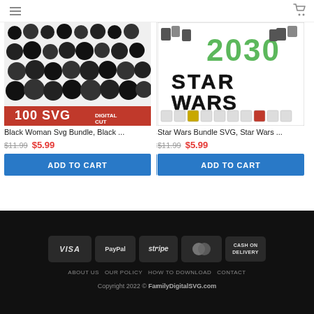Menu / Cart
[Figure (photo): Black Woman SVG Bundle product thumbnail showing many black women silhouettes with afro hairstyles and '100 SVG Digital Cut' red banner at the bottom]
Black Woman Svg Bundle, Black ...
$11.99  $5.99
ADD TO CART
[Figure (photo): Star Wars Bundle SVG product thumbnail showing '2030 Star Wars' text with various Star Wars character illustrations]
Star Wars Bundle SVG, Star Wars ...
$11.99  $5.99
ADD TO CART
VISA  PayPal  stripe  mastercard  CASH ON DELIVERY  ABOUT US  OUR POLICY  HOW TO DOWNLOAD  CONTACT  Copyright 2022 © FamilyDigitalSVG.com